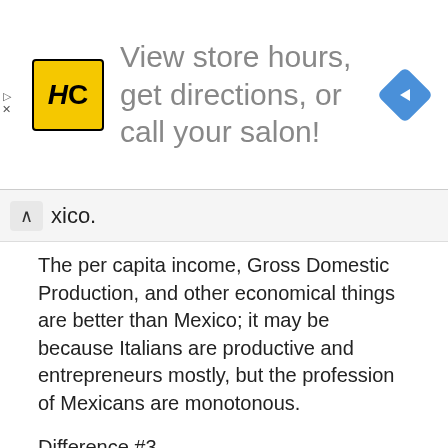[Figure (other): Ad banner for Hair Club (HC) salon with yellow logo, text 'View store hours, get directions, or call your salon!' and a blue navigation diamond icon]
xico.
The per capita income, Gross Domestic Production, and other economical things are better than Mexico; it may be because Italians are productive and entrepreneurs mostly, but the profession of Mexicans are monotonous.
Difference #3
The flags of both countries have the same color, and the orders of major ones are the same, but the difference is the Italian has